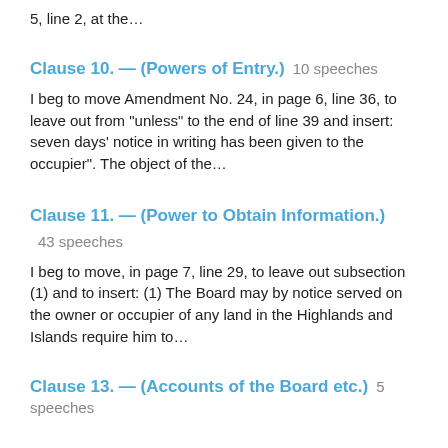5, line 2, at the…
Clause 10. — (Powers of Entry.)  10 speeches
I beg to move Amendment No. 24, in page 6, line 36, to leave out from "unless" to the end of line 39 and insert: seven days' notice in writing has been given to the occupier". The object of the…
Clause 11. — (Power to Obtain Information.)
43 speeches
I beg to move, in page 7, line 29, to leave out subsection (1) and to insert: (1) The Board may by notice served on the owner or occupier of any land in the Highlands and Islands require him to…
Clause 13. — (Accounts of the Board etc.)  5 speeches